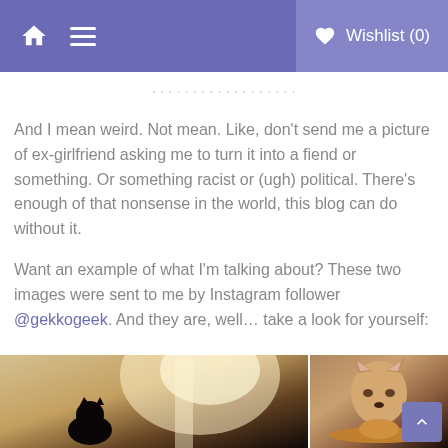Wishlist (0)
And I mean weird. Not mean. Like, don't send me a picture of ex-girlfriend asking me to turn it into a fiend or something. Or something racist or (ugh) political. There's enough of that nonsense in the world, this blog can do without it.
Want an example of what I'm talking about? These two images were sent to me by Instagram follower @gekkogeek. And they are, well… take a look for yourself:
[Figure (photo): Photo of a cat silhouetted against bright window light]
[Figure (photo): Photo of a fox or dog wearing a sombrero hat, sitting in a decorated chair]